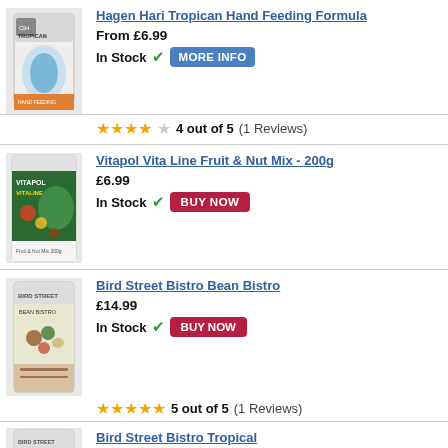[Figure (photo): Hagen Hari Tropican Hand Feeding Formula product bag]
Hagen Hari Tropican Hand Feeding Formula
From £6.99
In Stock  MORE INFO
4 out of 5 (1 Reviews)
[Figure (photo): Vitapol Vita Line Fruit & Nut Mix 200g product box]
Vitapol Vita Line Fruit & Nut Mix - 200g
£6.99
In Stock  BUY NOW
[Figure (photo): Bird Street Bistro Bean Bistro product bag]
Bird Street Bistro Bean Bistro
£14.99
In Stock  BUY NOW
5 out of 5 (1 Reviews)
[Figure (photo): Bird Street Bistro Tropical product bag (partial)]
Bird Street Bistro Tropical